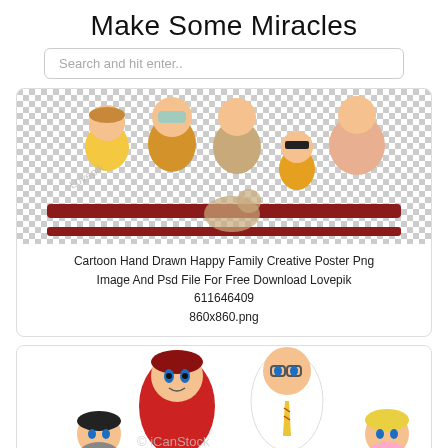Make Some Miracles
Search and hit enter..
[Figure (illustration): Cartoon hand drawn happy family sitting on a bench — grandparents, parents, and a young girl — on a transparent/checkered background. Watermark 'Lovepik' visible.]
Cartoon Hand Drawn Happy Family Creative Poster Png Image And Psd File For Free Download Lovepik
611646409
860x860.png
[Figure (illustration): Cartoon family illustration showing a woman with red hair, a man with glasses and a tie, a small child with dark hair, and a blonde child — on a white background. iCanStock watermark visible.]